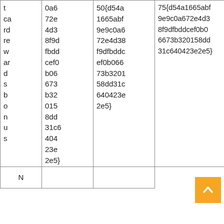|  |  |  |  |
| --- | --- | --- | --- |
| t | 0a6 | 50{d54a | 75{d54a1665abf
9e9c0a672e4d3
8f9dfbddcef0b0
6673b320158dd
31c640423e2e5} |
| ca | 72e | 1665abf |  |
| rd | 4d3 | 9e9c0a6 |  |
| re | 8f9d | 72e4d38 |  |
| w | fbdd | f9dfbddc |  |
| ar | cef0 | ef0b066 |  |
| d | b06 | 73b3201 |  |
| s | 673 | 58dd31c |  |
| b | b32 | 640423e |  |
| o | 015 | 2e5} |  |
| n | 8dd |  |  |
| u | 31c6 |  |  |
| s | 404 |  |  |
|  | 23e |  |  |
|  | 2e5} |  |  |
| N |  |  |  |